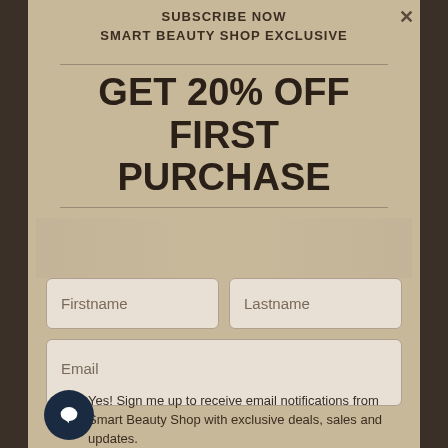SUBSCRIBE NOW
SMART BEAUTY SHOP EXCLUSIVE
GET 20% OFF FIRST PURCHASE
[Figure (screenshot): Email subscription popup form with Firstname, Lastname, and Email input fields on a beige/tan background]
Yes! Sign me up to receive email notifications from Smart Beauty Shop with exclusive deals, sales and updates.